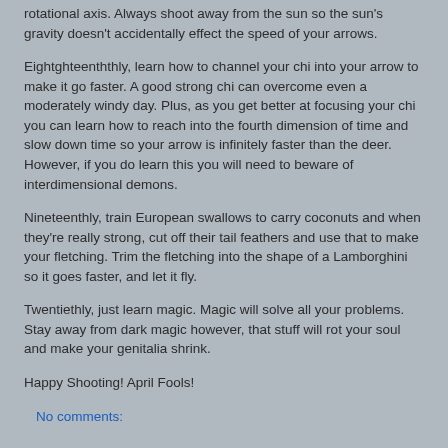rotational axis. Always shoot away from the sun so the sun's gravity doesn't accidentally effect the speed of your arrows.
Eightghteenththly, learn how to channel your chi into your arrow to make it go faster. A good strong chi can overcome even a moderately windy day. Plus, as you get better at focusing your chi you can learn how to reach into the fourth dimension of time and slow down time so your arrow is infinitely faster than the deer. However, if you do learn this you will need to beware of interdimensional demons.
Nineteenthly, train European swallows to carry coconuts and when they're really strong, cut off their tail feathers and use that to make your fletching. Trim the fletching into the shape of a Lamborghini so it goes faster, and let it fly.
Twentiethly, just learn magic. Magic will solve all your problems. Stay away from dark magic however, that stuff will rot your soul and make your genitalia shrink.
Happy Shooting! April Fools!
No comments: